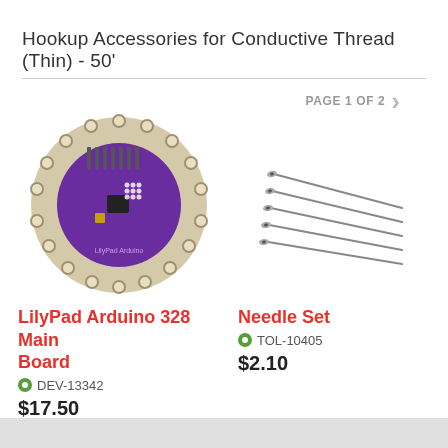Hookup Accessories for Conductive Thread (Thin) - 50'
PAGE 1 OF 2
[Figure (photo): LilyPad Arduino 328 Main Board - circular purple PCB with holes around edge]
[Figure (photo): Needle Set - five sewing needles fanned out diagonally]
LilyPad Arduino 328 Main Board
DEV-13342
$17.50
2
Needle Set
TOL-10405
$2.10